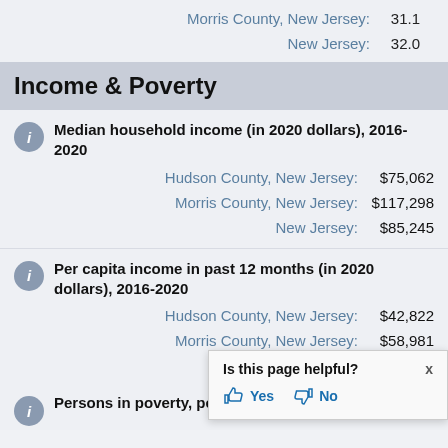Morris County, New Jersey: 31.1
New Jersey: 32.0
Income & Poverty
Median household income (in 2020 dollars), 2016-2020
Hudson County, New Jersey: $75,062
Morris County, New Jersey: $117,298
New Jersey: $85,245
Per capita income in past 12 months (in 2020 dollars), 2016-2020
Hudson County, New Jersey: $42,822
Morris County, New Jersey: $58,981
Is this page helpful? Yes No
Persons in poverty, percent